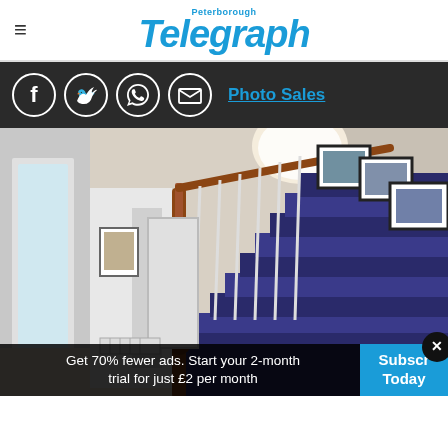Peterborough Telegraph
[Figure (logo): Peterborough Telegraph logo in blue]
Photo Sales
[Figure (photo): Interior hallway of a house showing a staircase with dark blue carpet, wooden banister, white walls with framed pictures, and a globe ceiling light]
Get 70% fewer ads. Start your 2-month trial for just £2 per month
Subscribe Today